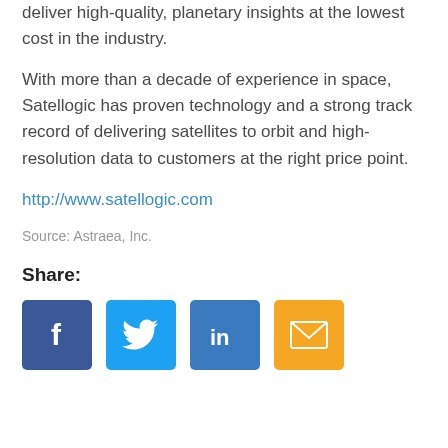deliver high-quality, planetary insights at the lowest cost in the industry.
With more than a decade of experience in space, Satellogic has proven technology and a strong track record of delivering satellites to orbit and high-resolution data to customers at the right price point.
http://www.satellogic.com
Source: Astraea, Inc.
Share:
[Figure (infographic): Four social media share buttons: Facebook (dark blue with f icon), Twitter (light blue with bird icon), LinkedIn (medium blue with in icon), Email (yellow/orange with envelope icon)]